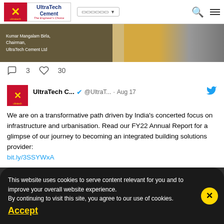UltraTech Cement Ltd - navigation header with logo and menu
[Figure (screenshot): Partial tweet screenshot showing image of Kumar Mangalam Birla, Chairman, UltraTech Cement Ltd with yellow and grey background]
Kumar Mangalam Birla,
Chairman,
UltraTech Cement Ltd
3  30
UltraTech C... @UltraT... · Aug 17
We are on a transformative path driven by India's concerted focus on infrastructure and urbanisation. Read our FY22 Annual Report for a glimpse of our journey to becoming an integrated building solutions provider:
bit.ly/3SSYWxA
[Figure (screenshot): Dark grey background section with back-to-top button]
This website uses cookies to serve content relevant for you and to improve your overall website experience.
By continuing to visit this site, you agree to our use of cookies.
Accept